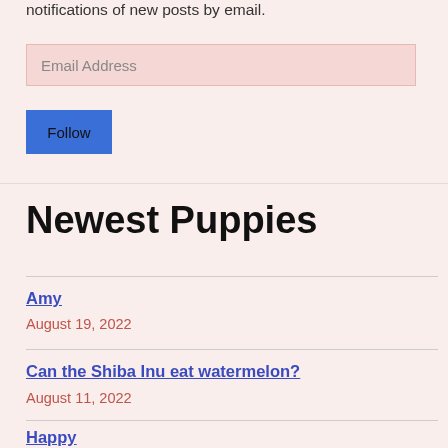notifications of new posts by email.
Email Address
Follow
Newest Puppies
Amy
August 19, 2022
Can the Shiba Inu eat watermelon?
August 11, 2022
Happy
July 28, 2022